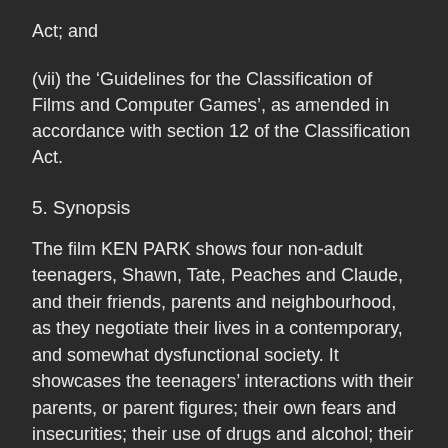Act; and
(vii) the ‘Guidelines for the Classification of Films and Computer Games’, as amended in accordance with section 12 of the Classification Act.
5. Synopsis
The film KEN PARK shows four non-adult teenagers, Shawn, Tate, Peaches and Claude, and their friends, parents and neighbourhood, as they negotiate their lives in a contemporary, and somewhat dysfunctional society. It showcases the teenagers’ interactions with their parents, or parent figures; their own fears and insecurities; their use of drugs and alcohol; their participation in sex with each other and others and their success or failure to